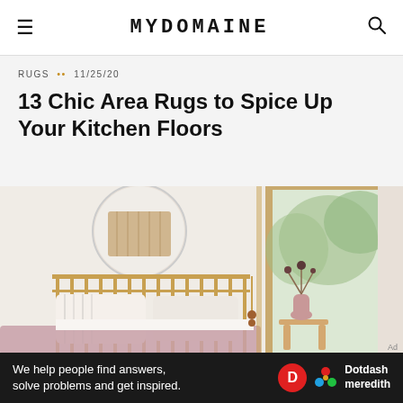MYDOMAINE
RUGS •• 11/25/20
13 Chic Area Rugs to Spice Up Your Kitchen Floors
[Figure (photo): Minimalist bedroom with gold metal bed frame, round mirror on white wall, striped pillows, pink/mauve duvet, small wooden stool with pink vase and dried flowers, large window with greenery outside.]
We help people find answers, solve problems and get inspired.
[Figure (logo): Dotdash Meredith logo — red circle with white D, colorful flower/asterisk icon, text 'Dotdash meredith']